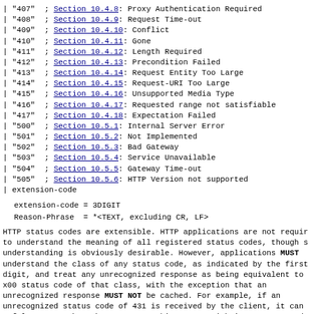| "407"  ; Section 10.4.8: Proxy Authentication Required
| "408"  ; Section 10.4.9: Request Time-out
| "409"  ; Section 10.4.10: Conflict
| "410"  ; Section 10.4.11: Gone
| "411"  ; Section 10.4.12: Length Required
| "412"  ; Section 10.4.13: Precondition Failed
| "413"  ; Section 10.4.14: Request Entity Too Large
| "414"  ; Section 10.4.15: Request-URI Too Large
| "415"  ; Section 10.4.16: Unsupported Media Type
| "416"  ; Section 10.4.17: Requested range not satisfiable
| "417"  ; Section 10.4.18: Expectation Failed
| "500"  ; Section 10.5.1: Internal Server Error
| "501"  ; Section 10.5.2: Not Implemented
| "502"  ; Section 10.5.3: Bad Gateway
| "503"  ; Section 10.5.4: Service Unavailable
| "504"  ; Section 10.5.5: Gateway Time-out
| "505"  ; Section 10.5.6: HTTP Version not supported
| extension-code
HTTP status codes are extensible. HTTP applications are not required to understand the meaning of all registered status codes, though such understanding is obviously desirable. However, applications MUST understand the class of any status code, as indicated by the first digit, and treat any unrecognized response as being equivalent to the x00 status code of that class, with the exception that an unrecognized response MUST NOT be cached. For example, if an unrecognized status code of 431 is received by the client, it can safely assume that there was something wrong with its request and treat the response as if it had received a 400 status code. In such cases, user agents SHOULD present to the user the entity returned with the response, since that entity is likely to include human-readable information which will explain the unusual status.